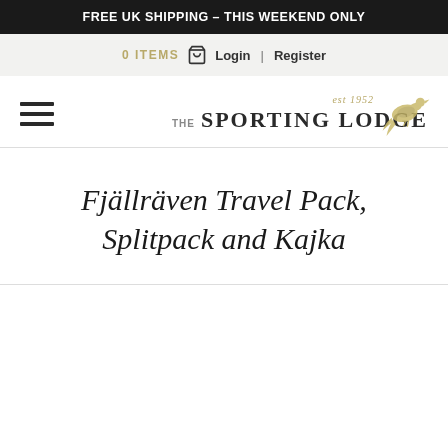FREE UK SHIPPING – THIS WEEKEND ONLY
0 ITEMS  Login  |  Register
[Figure (logo): The Sporting Lodge logo with pheasant bird illustration, est 1952, with hamburger menu icon on the left]
Fjällräven Travel Pack, Splitpack and Kajka